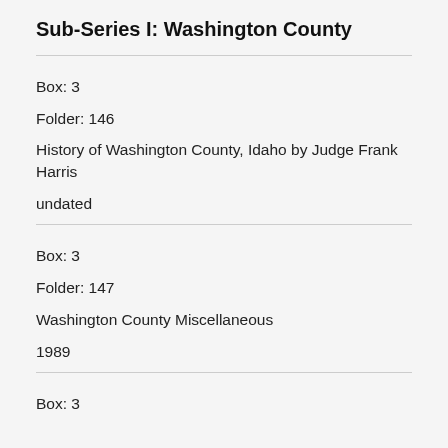Sub-Series I: Washington County
Box: 3
Folder: 146
History of Washington County, Idaho by Judge Frank Harris
undated
Box: 3
Folder: 147
Washington County Miscellaneous
1989
Box: 3